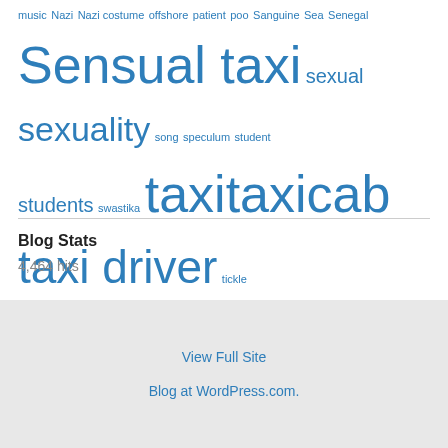music Nazi Nazi costume offshore patient poo Sanguine Sea Senegal Sensual taxi sexual sexuality song speculum student students swastika taxi taxicab taxi driver tickle transport Tyrion Unexpected Items Unmentionable Places Until The Cavalry Come video virtuoso Wilma Flintstone witches wizards zombies
Blog Stats
4,464 hits
View Full Site
Blog at WordPress.com.